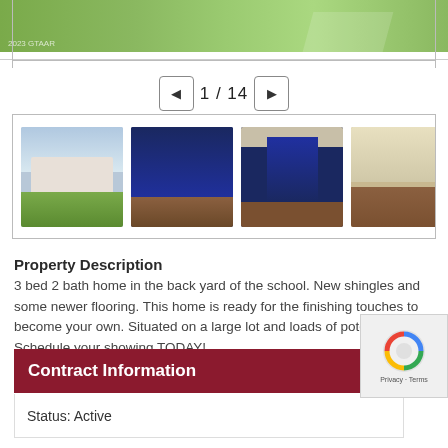[Figure (photo): Top portion of exterior house photo showing grass and path, with 2023 GTAAR watermark]
1 / 14
[Figure (photo): Thumbnail gallery showing 4 property photos: exterior of house with trees, interior blue-walled room, interior hallway, and interior room]
Property Description
3 bed 2 bath home in the back yard of the school. New shingles and some newer flooring. This home is ready for the finishing touches to become your own. Situated on a large lot and loads of potential. Schedule your showing TODAY!
Contract Information
Status: Active